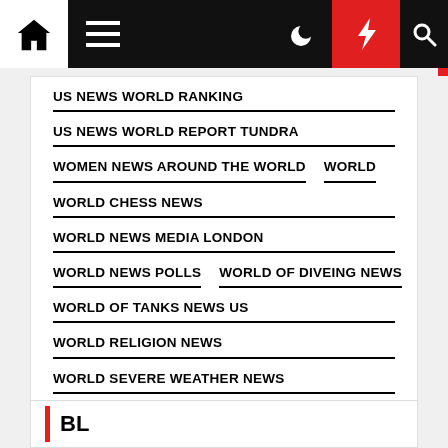Navigation bar with home, menu, moon, bolt, search icons
US NEWS WORLD RANKING
US NEWS WORLD REPORT TUNDRA
WOMEN NEWS AROUND THE WORLD    WORLD
WORLD CHESS NEWS
WORLD NEWS MEDIA LONDON
WORLD NEWS POLLS    WORLD OF DIVEING NEWS
WORLD OF TANKS NEWS US
WORLD RELIGION NEWS
WORLD SEVERE WEATHER NEWS
WWW.REDDIT.COM/WORLD NEWS
BL